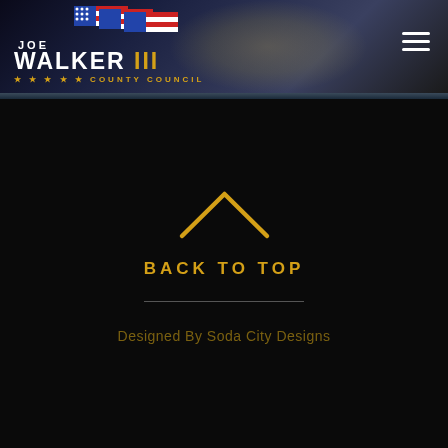[Figure (logo): Joe Walker III County Council campaign logo with American flag motif and city skyline background header banner with hamburger menu icon]
BACK TO TOP
Designed By Soda City Designs